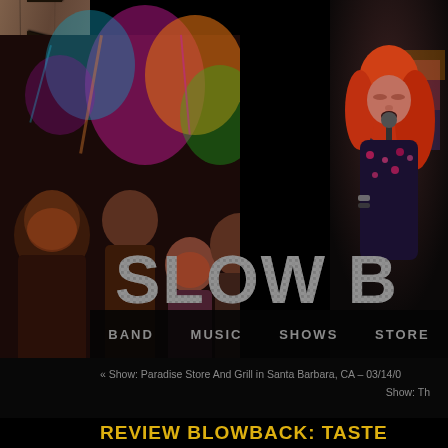[Figure (photo): Vertical grunge/stone textured sidebar with 'SLOW BURN' text written vertically in large dark distressed letters on a brownish-grey stone-like background]
[Figure (photo): Concert photo of a rock band (Slow Burn) on stage with colorful stage lighting (pink, orange, cyan lights), showing 4-5 band members in a dark venue]
[Figure (photo): Photo of a female vocalist with red/auburn hair singing into a microphone, wearing a floral/patterned outfit with bracelets]
[Figure (logo): SLOW B (partial) logo text in large distressed/grunge silver/grey letters overlaid on band photo]
BAND   MUSIC   SHOWS   STORE
« Show: Paradise Store And Grill in Santa Barbara, CA – 03/14/0
Show: Th
REVIEW BLOWBACK: TASTE